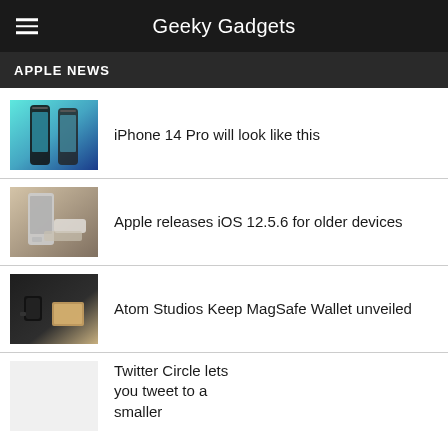Geeky Gadgets
APPLE NEWS
iPhone 14 Pro will look like this
Apple releases iOS 12.5.6 for older devices
Atom Studios Keep MagSafe Wallet unveiled
Twitter Circle lets you tweet to a smaller